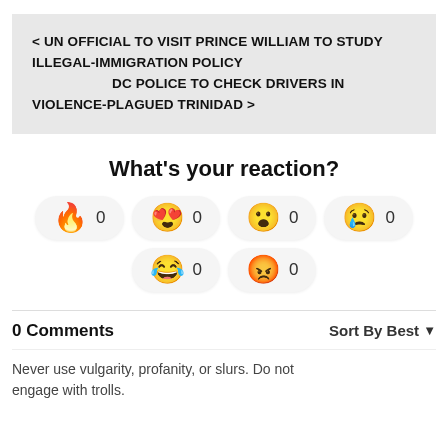< UN OFFICIAL TO VISIT PRINCE WILLIAM TO STUDY ILLEGAL-IMMIGRATION POLICY   DC POLICE TO CHECK DRIVERS IN VIOLENCE-PLAGUED TRINIDAD >
What's your reaction?
🔥 0
😍 0
😮 0
😢 0
😂 0
😡 0
0 Comments   Sort By Best
Never use vulgarity, profanity, or slurs. Do not engage with trolls.